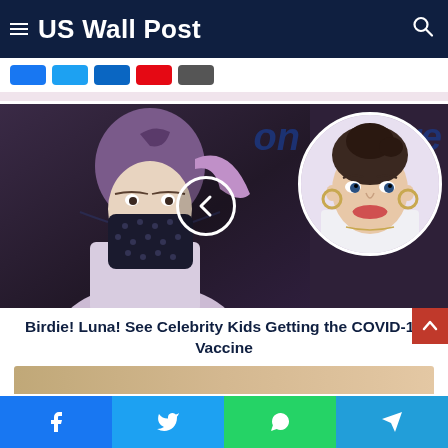US Wall Post
[Figure (photo): Main article image showing a child with purple hair wearing a polka-dot mask, with a circular inset portrait of a smiling woman with dark hair pulled back, wearing hoop earrings]
Birdie! Luna! See Celebrity Kids Getting the COVID-19 Vaccine
[Figure (photo): Partial view of a second article image at bottom of page]
Social share bar with Facebook, Twitter, WhatsApp, Telegram icons